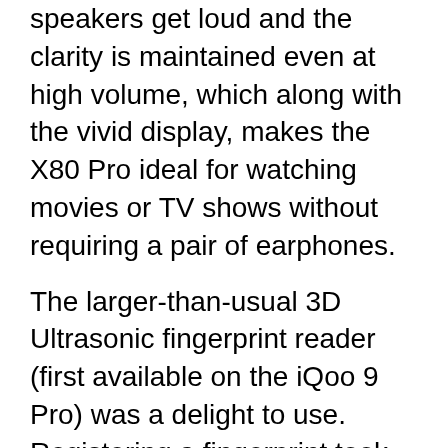speakers get loud and the clarity is maintained even at high volume, which along with the vivid display, makes the X80 Pro ideal for watching movies or TV shows without requiring a pair of earphones.
The larger-than-usual 3D Ultrasonic fingerprint reader (first available on the iQoo 9 Pro) was a delight to use. Registering a fingerprint took one single tap and unlocking the device worked flawlessly during my review period. I also found Vivo’s Quick Actions feature quite handy, which lets you launch any native or third-party app the moment you unlock the device. Vivo has also thrown in a two-finger verification system for additional security and it worked as expected. Apart from the lockscreen, you